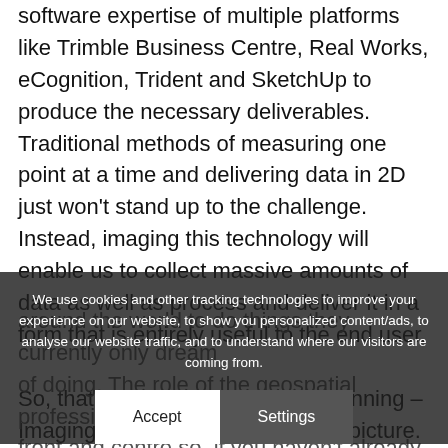software expertise of multiple platforms like Trimble Business Centre, Real Works, eCognition, Trident and SketchUp to produce the necessary deliverables. Traditional methods of measuring one point at a time and delivering data in 2D just won't stand up to the challenge. Instead, imaging this technology will enable us to collect massive amounts of data as well as process and deliver it in a form that is entirely useful to the end user.

So, that brings us back to the beginning – Imaging, it really isn't just a pretty picture. The application of this technology knows no bounds and will enable industries around the world to do things they currently only dream of doing. The role of the geospatial professional will be front and centre so, if you haven't already thought about how you can integrate VISION technology into the way you do business, I encourage you to do some more research and give us a call! They'll be able to offer you advice and expertise on how you can use
We use cookies and other tracking technologies to improve your experience on our website, to show you personalized content/ads, to analyse our website traffic, and to understand where our visitors are coming from.